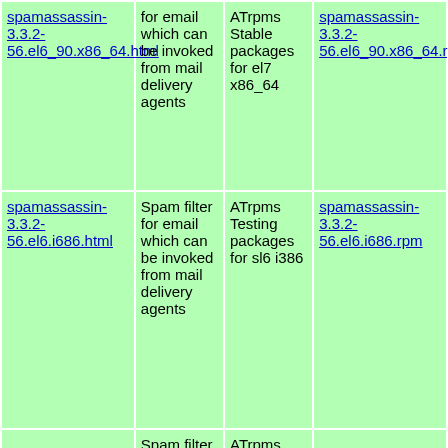| spamassassin-3.3.2-56.el6_90.x86_64.html | for email which can be invoked from mail delivery agents | ATrpms Stable packages for el7 x86_64 | spamassassin-3.3.2-56.el6_90.x86_64.rpm |
| spamassassin-3.3.2-56.el6.i686.html | Spam filter for email which can be invoked from mail delivery agents | ATrpms Testing packages for sl6 i386 | spamassassin-3.3.2-56.el6.i686.rpm |
|  | Spam filter for email which can be invoked from mail delivery agents | ATrpms Testing |  |